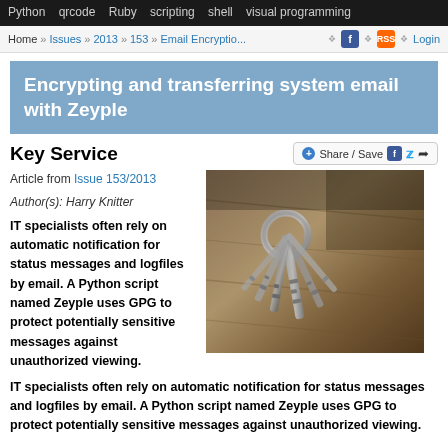Python   qrcode   Ruby   scripting   shell   visual programming
Home » Issues » 2013 » 153 » Email Encryptio... Login
Encrypting and transferring system email with Zeyple
Key Service
Article from Issue 153/2013
Author(s): Harry Knitter
[Figure (photo): A bundle of old metal skeleton keys lying on a wooden surface]
IT specialists often rely on automatic notification for status messages and logfiles by email. A Python script named Zeyple uses GPG to protect potentially sensitive messages against unauthorized viewing.
Whether you choose Logdigest [1], LogSurfer [2], your own script, or cron [3], email is a common choice for quickly updating